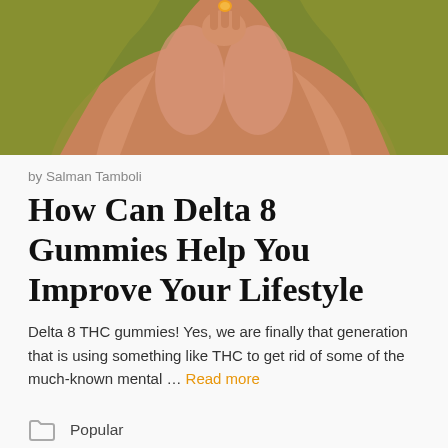[Figure (photo): Photo of a person's hands holding an orange gummy candy, sitting on a green surface, close-up shot showing legs and hands.]
by Salman Tamboli
How Can Delta 8 Gummies Help You Improve Your Lifestyle
Delta 8 THC gummies! Yes, we are finally that generation that is using something like THC to get rid of some of the much-known mental … Read more
Popular
cbd gummies, cbd gummies benefits